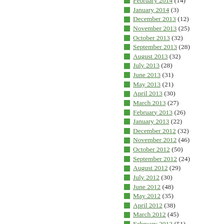February 2014 (14)
January 2014 (3)
December 2013 (12)
November 2013 (25)
October 2013 (32)
September 2013 (28)
August 2013 (32)
July 2013 (28)
June 2013 (31)
May 2013 (21)
April 2013 (30)
March 2013 (27)
February 2013 (26)
January 2013 (22)
December 2012 (32)
November 2012 (46)
October 2012 (50)
September 2012 (24)
August 2012 (29)
July 2012 (30)
June 2012 (48)
May 2012 (35)
April 2012 (38)
March 2012 (45)
February 2012 (51)